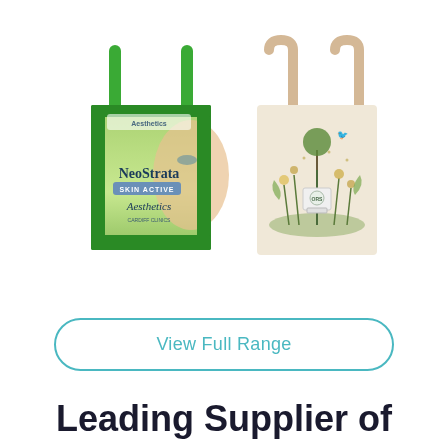[Figure (photo): Two promotional tote bags side by side. Left bag is a green-handled woven polypropylene bag printed with NeoStrata Skin Active and Aesthetics branding featuring a woman's face. Right bag is a natural cotton tote with a detailed botanical/nature illustration printed on it.]
View Full Range
Leading Supplier of